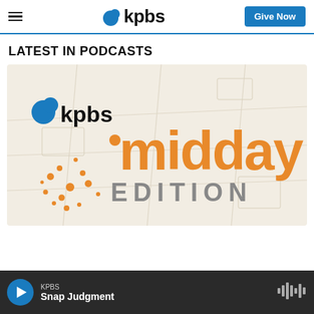KPBS | Give Now
LATEST IN PODCASTS
[Figure (illustration): KPBS Midday Edition podcast cover art showing the KPBS logo with blue speech bubble icon, large orange text 'midday', and gray text 'EDITION' on a light map background with orange decorative dots]
KPBS | Snap Judgment